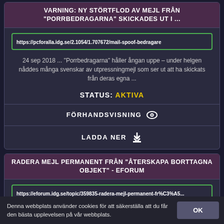VARNING: NY STÖRTFLOD AV MEJL FRÅN "PORRBEDRAGARNA" SKICKADES UT I ...
https://pcforalla.idg.se/2.1054/1.707672/mail-spoof-bedragare
24 sep 2018 ... "Porrbedragarna" håller ångan uppe – under helgen nåddes många svenskar av utpressningmejl som ser ut att ha skickats från deras egna ...
STATUS: AKTIVA
FÖRHANDSVISNING
LADDA NER
RADERA MEJL PERMANENT FRÅN "ÅTERSKAPA BORTTAGNA OBJEKT" - EFORUM
https://eforum.idg.se/topic/359835-radera-mejl-permanent-fr%C3%A5...
Denna webbplats använder cookies för att säkerställa att du får den bästa upplevelsen på vår webbplats.